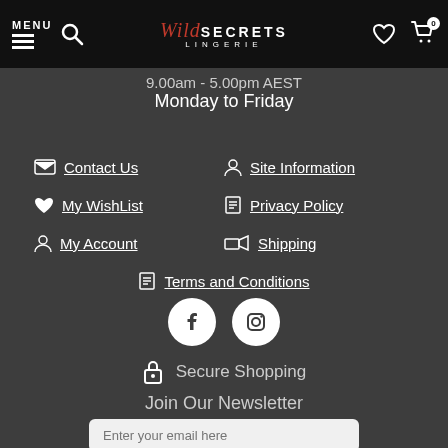MENU | Wild Secrets Lingerie | Search | Wishlist | Cart 0
9.00am - 5.00pm AEST
Monday to Friday
Contact Us
Site Information
My WishList
Privacy Policy
My Account
Shipping
Terms and Conditions
[Figure (other): Social media icons: Facebook and Instagram circles]
Secure Shopping
Join Our Newsletter
Enter your email here